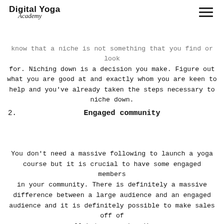Digital Yoga Academy
know that a niche is not something that you find or look for. Niching down is a decision you make. Figure out what you are good at and exactly whom you are keen to help and you've already taken the steps necessary to niche down.
2. Engaged community
You don't need a massive following to launch a yoga course but it is crucial to have some engaged members in your community. There is definitely a massive difference between a large audience and an engaged audience and it is definitely possible to make sales off of a small but engaged audience.